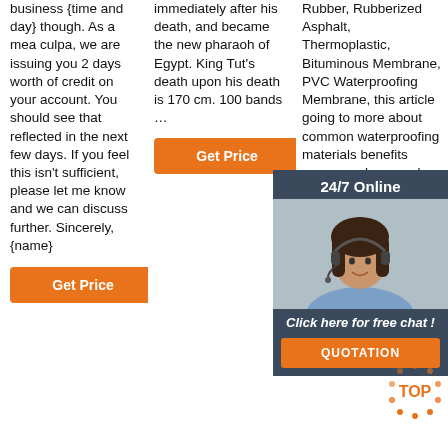business {time and day} though. As a mea culpa, we are issuing you 2 days worth of credit on your account. You should see that reflected in the next few days. If you feel this isn't sufficient, please let me know and we can discuss further. Sincerely, {name}
Get Price
immediately after his death, and became the new pharaoh of Egypt. King Tut's death upon his death is 170 cm. 100 bands …
Get Price
Rubber, Rubberized Asphalt, Thermoplastic, Bituminous Membrane, PVC Waterproofing Membrane, this article going to more about common waterproofing materials benefits possess when used properly, and their overall cost
[Figure (photo): Customer service representative with headset, 24/7 Online chat overlay with QUOTATION button]
Get Price